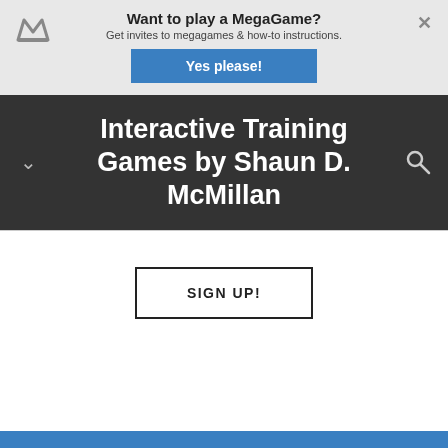Want to play a MegaGame? Get invites to megagames & how-to instructions.
Yes please!
Interactive Training Games by Shaun D. McMillan
SIGN UP!
POWERED BY weebly